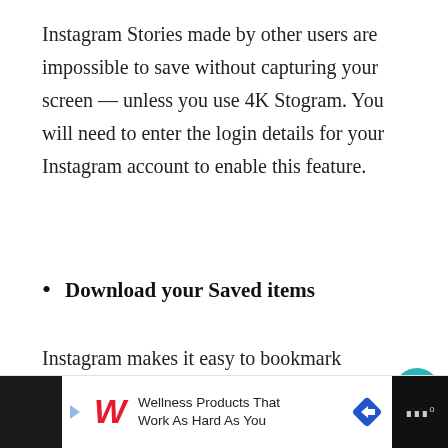Instagram Stories made by other users are impossible to save without capturing your screen — unless you use 4K Stogram. You will need to enter the login details for your Instagram account to enable this feature.
Download your Saved items
Instagram makes it easy to bookmark your favourite photos and videos, but they're not much use if you can only view them through the app, and what happens if a post gets deleted? You won't be able to find it again.
[Figure (other): Floating action buttons: teal heart button and white share button]
[Figure (screenshot): Advertisement banner: Walgreens wellness ad with logo, text 'Wellness Products That Work As Hard As You', navigation arrow diamond icon, and dark right panel with mic/audio icon]